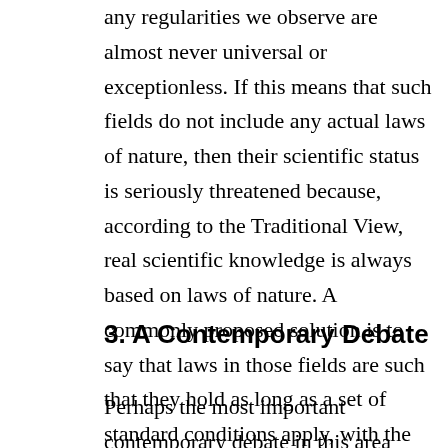any regularities we observe are almost never universal or exceptionless. If this means that such fields do not include any actual laws of nature, then their scientific status is seriously threatened because, according to the Traditional View, real scientific knowledge is always based on laws of nature. A commonly proposed solution is to say that laws in those fields are such that they hold as long as a set of standard conditions apply, with the standards being supplied by a theory from the relevant field. Such laws are often called ceteris paribus laws4 (Schiffer, 1991).
3. A Contemporary Debate
Perhaps the most important contemporary debate in this area concerns whether nature